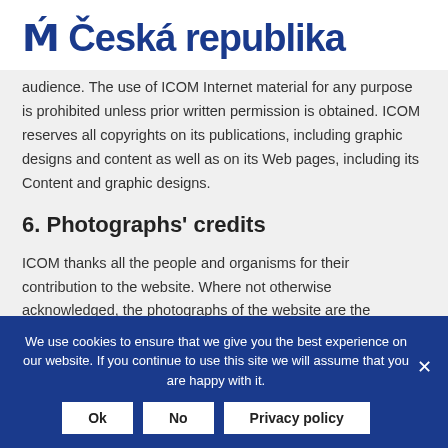M Česká republika
audience. The use of ICOM Internet material for any purpose is prohibited unless prior written permission is obtained. ICOM reserves all copyrights on its publications, including graphic designs and content as well as on its Web pages, including its Content and graphic designs.
6. Photographs' credits
ICOM thanks all the people and organisms for their contribution to the website. Where not otherwise acknowledged, the photographs of the website are the copyright of ICOM. All rights reserved. Reproduction of any photograph of this website is prohibited
We use cookies to ensure that we give you the best experience on our website. If you continue to use this site we will assume that you are happy with it.